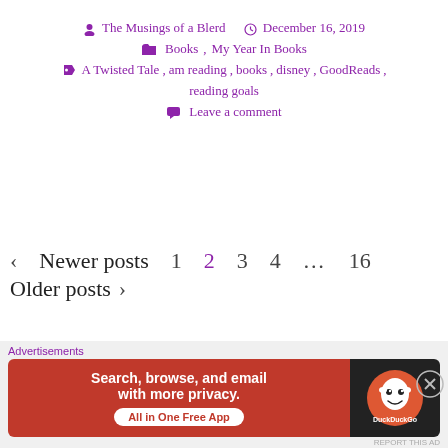The Musings of a Blerd   December 16, 2019
Books, My Year In Books
A Twisted Tale, am reading, books, disney, GoodReads, reading goals
Leave a comment
‹ Newer posts  1  2  3  4  ...  16  Older posts ›
Search
[Figure (screenshot): Search input field and search button]
Advertisements
[Figure (screenshot): DuckDuckGo advertisement banner: Search, browse, and email with more privacy. All in One Free App]